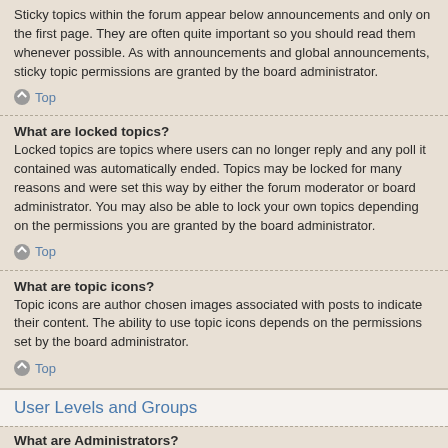Sticky topics within the forum appear below announcements and only on the first page. They are often quite important so you should read them whenever possible. As with announcements and global announcements, sticky topic permissions are granted by the board administrator.
Top
What are locked topics?
Locked topics are topics where users can no longer reply and any poll it contained was automatically ended. Topics may be locked for many reasons and were set this way by either the forum moderator or board administrator. You may also be able to lock your own topics depending on the permissions you are granted by the board administrator.
Top
What are topic icons?
Topic icons are author chosen images associated with posts to indicate their content. The ability to use topic icons depends on the permissions set by the board administrator.
Top
User Levels and Groups
What are Administrators?